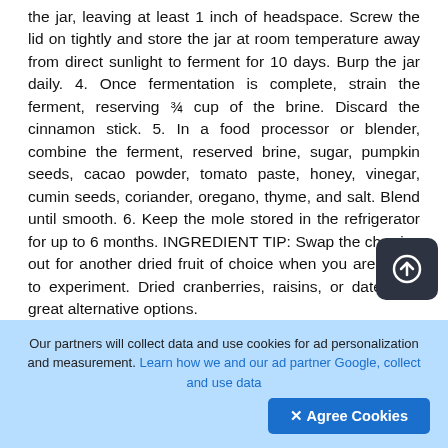the jar, leaving at least 1 inch of headspace. Screw the lid on tightly and store the jar at room temperature away from direct sunlight to ferment for 10 days. Burp the jar daily. 4. Once fermentation is complete, strain the ferment, reserving ¾ cup of the brine. Discard the cinnamon stick. 5. In a food processor or blender, combine the ferment, reserved brine, sugar, pumpkin seeds, cacao powder, tomato paste, honey, vinegar, cumin seeds, coriander, oregano, thyme, and salt. Blend until smooth. 6. Keep the mole stored in the refrigerator for up to 6 months. INGREDIENT TIP: Swap the cherries out for another dried fruit of choice when you are ready to experiment. Dried cranberries, raisins, or dates are great alternative options.
Our partners will collect data and use cookies for ad personalization and measurement. Learn how we and our ad partner Google, collect and use data